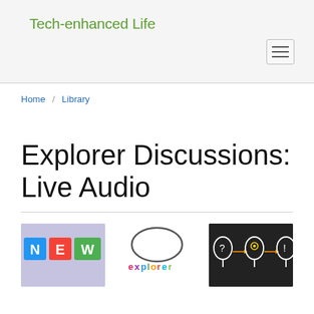Tech-enhanced Life
Home / Library
Explorer Discussions: Live Audio
[Figure (photo): Colorful toy blocks spelling NEW on a purple background]
[Figure (illustration): Colorful word 'explorer' text logo with playful font]
[Figure (illustration): Chalkboard drawing of three head silhouettes with question mark, gears, and exclamation mark connected by arrows]